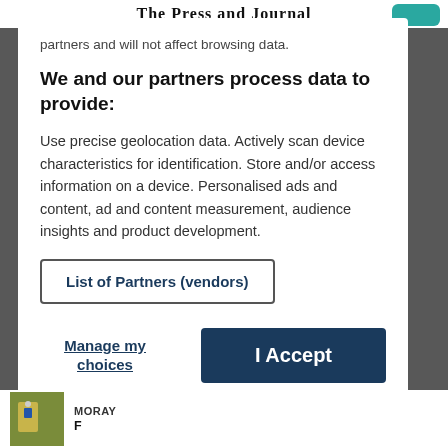The Press and Journal
partners and will not affect browsing data.
We and our partners process data to provide:
Use precise geolocation data. Actively scan device characteristics for identification. Store and/or access information on a device. Personalised ads and content, ad and content measurement, audience insights and product development.
List of Partners (vendors)
Manage my choices
I Accept
MORAY